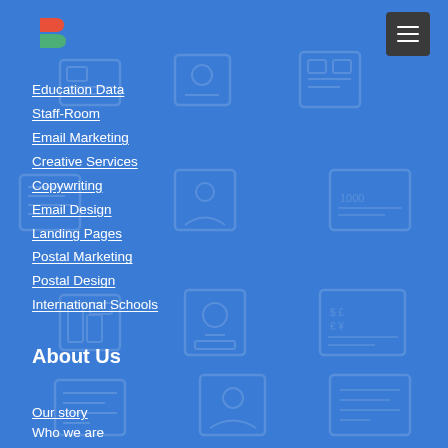[Figure (logo): Colorful B-shaped logo with red/orange top and green bottom on blue background]
[Figure (other): Dark grey hamburger menu button with three white horizontal lines]
Education Data
Staff-Room
Email Marketing
Creative Services
Copywriting
Email Design
Landing Pages
Postal Marketing
Postal Design
International Schools
About Us
Our story
Who we are